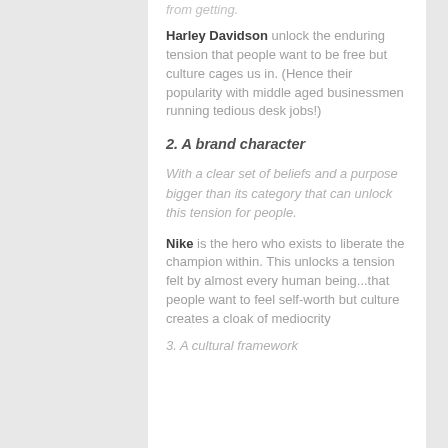from getting.
Harley Davidson unlock the enduring tension that people want to be free but culture cages us in. (Hence their popularity with middle aged businessmen running tedious desk jobs!)
2. A brand character
With a clear set of beliefs and a purpose bigger than its category that can unlock this tension for people.
Nike is the hero who exists to liberate the champion within. This unlocks a tension felt by almost every human being...that people want to feel self-worth but culture creates a cloak of mediocrity
3. A cultural framework